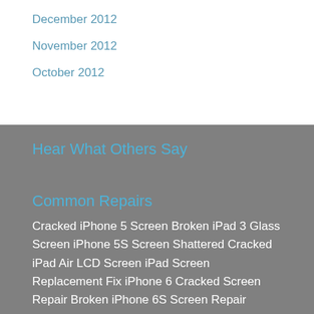December 2012
November 2012
October 2012
Hear What Others Say
Common Repairs
Cracked iPhone 5 Screen Broken iPad 3 Glass Screen iPhone 5S Screen Shattered Cracked iPad Air LCD Screen iPad Screen Replacement Fix iPhone 6 Cracked Screen Repair Broken iPhone 6S Screen Repair Cracked iPhone 7 Repair in Dubai Abu Dhabi iPhone 8 Screen